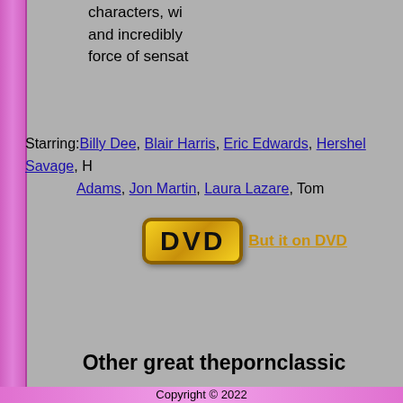characters, wi... and incredibly... force of sensat...
Starring: Billy Dee, Blair Harris, Eric Edwards, Hershel Savage, H... Adams, Jon Martin, Laura Lazare, Tom...
[Figure (logo): DVD badge logo with gold border]
But it on DVD...
Other great thepornclassic...
[Figure (photo): Trinity Brown movie cover]
Trinity Brown
[Figure (photo): Little French Maid movie cover]
Little French Maid
[Figure (photo): Visions Of Clair movie cover]
Visions Of Clair
[Figure (photo): Partial fourth movie cover (cut off)]
Lit... Unc...
Copyright © 2022